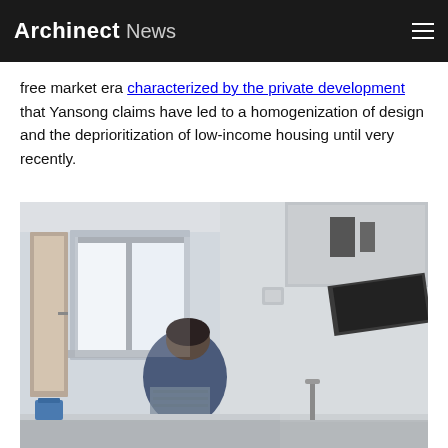Archinect News
free market era characterized by the private development that Yansong claims have led to a homogenization of design and the deprioritization of low-income housing until very recently.
[Figure (photo): Interior photo of a residential kitchen/living space showing a person working at a counter near a window with natural light, modern white cabinetry, and kitchen appliances visible on the right side.]